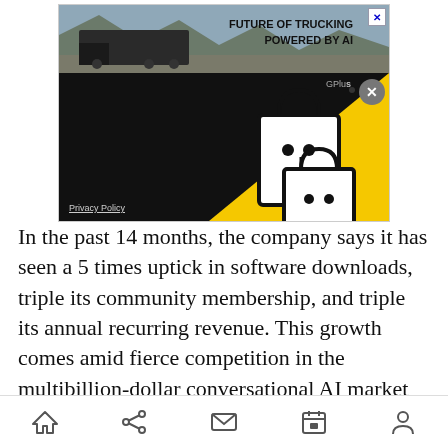[Figure (advertisement): An advertisement banner showing 'FUTURE OF TRUCKING POWERED BY AI' with a truck image at top, a dark background with yellow triangle and shopping bag icons, and a Privacy Policy link at bottom left. Has a close (X) button and a GPlusX overlay button.]
In the past 14 months, the company says it has seen a 5 times uptick in software downloads, triple its community membership, and triple its annual recurring revenue. This growth comes amid fierce competition in the multibillion-dollar conversational AI market as the pandemic's